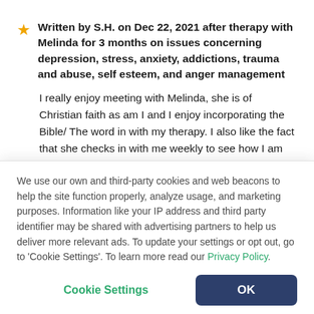Written by S.H. on Dec 22, 2021 after therapy with Melinda for 3 months on issues concerning depression, stress, anxiety, addictions, trauma and abuse, self esteem, and anger management
I really enjoy meeting with Melinda, she is of Christian faith as am I and I enjoy incorporating the Bible/ The word in with my therapy. I also like the fact that she checks in with me weekly to see how I am doing. She is invested in her patients and their growth.
We use our own and third-party cookies and web beacons to help the site function properly, analyze usage, and marketing purposes. Information like your IP address and third party identifier may be shared with advertising partners to help us deliver more relevant ads. To update your settings or opt out, go to 'Cookie Settings'. To learn more read our Privacy Policy.